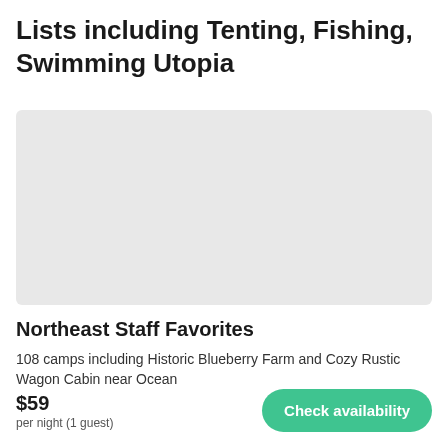Lists including Tenting, Fishing, Swimming Utopia
[Figure (photo): Gray placeholder image for a campsite listing]
Northeast Staff Favorites
108 camps including Historic Blueberry Farm and Cozy Rustic Wagon Cabin near Ocean
$59 per night (1 guest)
Check availability